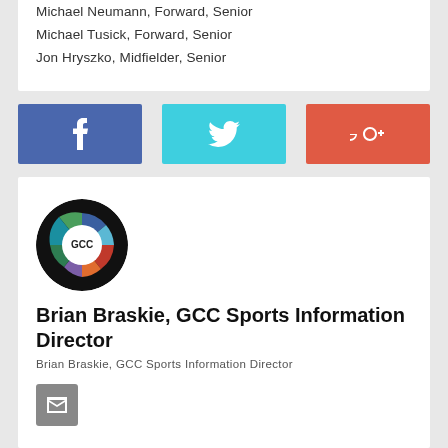Michael Neumann, Forward, Senior
Michael Tusick, Forward, Senior
Jon Hryszko, Midfielder, Senior
[Figure (other): Facebook share button (blue)]
[Figure (other): Twitter share button (cyan)]
[Figure (other): Google+ share button (red-orange)]
[Figure (logo): GCC circular sports logo with colorful pie sections and GCC text in center]
Brian Braskie, GCC Sports Information Director
Brian Braskie, GCC Sports Information Director
[Figure (other): Email/envelope icon button (gray)]